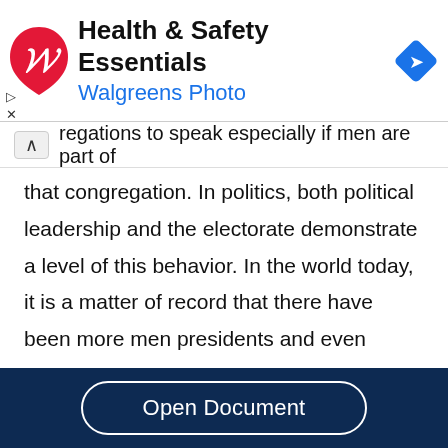[Figure (other): Walgreens Health & Safety Essentials advertisement banner with Walgreens logo (red W), blue text 'Walgreens Photo', and a blue navigation icon on the right.]
regations to speak especially if men are part of that congregation. In politics, both political leadership and the electorate demonstrate a level of this behavior. In the world today, it is a matter of record that there have been more men presidents and even prime ministers than women. Across the globe, feminist movements are calling on governments to adopt inclusivity in key
[Figure (other): Open Document button on dark navy blue background]